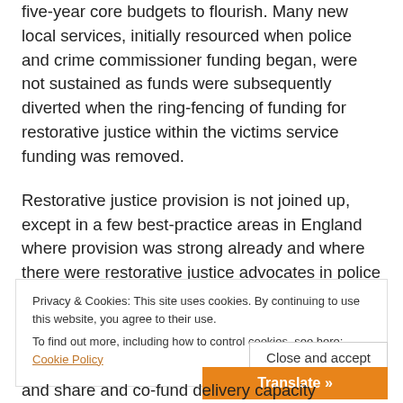five-year core budgets to flourish. Many new local services, initially resourced when police and crime commissioner funding began, were not sustained as funds were subsequently diverted when the ring-fencing of funding for restorative justice within the victims service funding was removed.
Restorative justice provision is not joined up, except in a few best-practice areas in England where provision was strong already and where there were restorative justice advocates in police and crime commissioner offices, and in service areas that persevered, so this has been
Privacy & Cookies: This site uses cookies. By continuing to use this website, you agree to their use.
To find out more, including how to control cookies, see here: Cookie Policy
Close and accept
Translate »
and share and co-fund delivery capacity